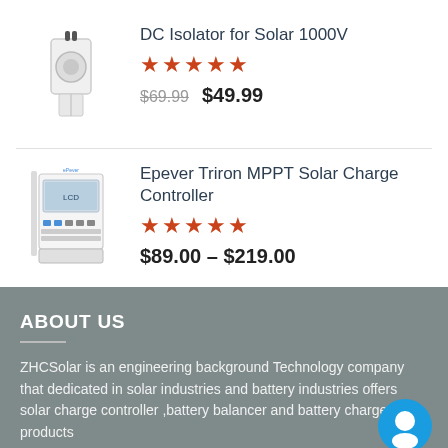[Figure (photo): DC Isolator for Solar 1000V product image]
DC Isolator for Solar 1000V
★★★★★
$69.99  $49.99
[Figure (photo): Epever Triron MPPT Solar Charge Controller product image]
Epever Triron MPPT Solar Charge Controller
★★★★★
$89.00 – $219.00
ABOUT US
ZHCSolar is an engineering background Technology company that dedicated in solar industries and battery industries offers solar charge controller ,battery balancer and battery charger products
Privacy Policy
Terms and Condition